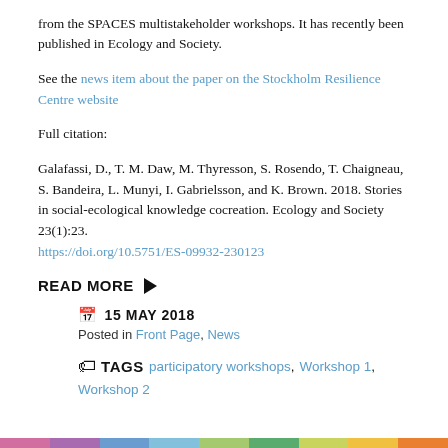from the SPACES multistakeholder workshops. It has recently been published in Ecology and Society.
See the news item about the paper on the Stockholm Resilience Centre website
Full citation:
Galafassi, D., T. M. Daw, M. Thyresson, S. Rosendo, T. Chaigneau, S. Bandeira, L. Munyi, I. Gabrielsson, and K. Brown. 2018. Stories in social-ecological knowledge cocreation. Ecology and Society 23(1):23.
https://doi.org/10.5751/ES-09932-230123
READ MORE ▶
📅 15 MAY 2018
Posted in Front Page, News
TAGS participatory workshops, Workshop 1, Workshop 2